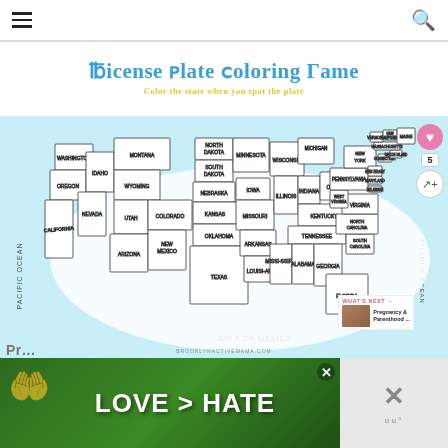≡  [search icon]
[Figure (illustration): License Plate Coloring Game educational printable. Title in blue handwritten font: 'License Plate Coloring Game'. Subtitle in yellow: 'Color the state when you spot the plate'. Below is a map of the United States with all states labeled, set against a light blue background representing Pacific Ocean and Atlantic Ocean. URL credit: brooklynactivemama.com. Side buttons include heart/save (pink) and share icon. 'WHAT'S NEXT' overlay showing 'Pregnancy & Parenthood ...' thumbnail.]
[Figure (photo): Advertisement banner: Two hands forming a heart shape against a green/nature background. Large white text reads 'LOVE > HATE'. Partial close (X) button visible. Right side shows 'X' and 'uu°' brand mark on grey background.]
Pr...